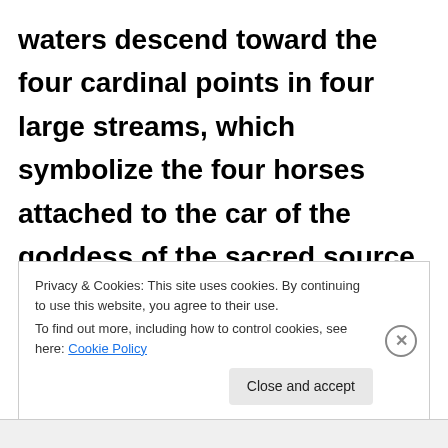waters descend toward the four cardinal points in four large streams, which symbolize the four horses attached to the car of the goddess of the sacred source, Ardvî-Sûra-Anâhita. These four horses recall the four animals placed at the
Privacy & Cookies: This site uses cookies. By continuing to use this website, you agree to their use. To find out more, including how to control cookies, see here: Cookie Policy
Close and accept